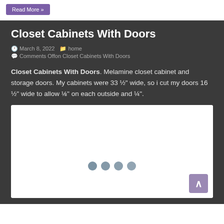Read More »
Closet Cabinets With Doors
March 8, 2022  home  Comments Offon Closet Cabinets With Doors
Closet Cabinets With Doors. Melamine closet cabinet and storage doors. My cabinets were 33 ½" wide, so i cut my doors 16 ½" wide to allow ⅛" on each outside and ¼".
[Figure (photo): White image placeholder with four loading dots in the center, indicating an image is loading.]